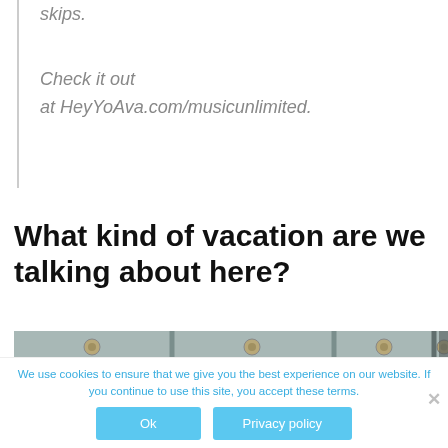skips.
Check it out
at HeyYoAva.com/musicunlimited.
What kind of vacation are we talking about here?
[Figure (photo): Close-up photo of weathered wooden planks with metal bolts/screws]
We use cookies to ensure that we give you the best experience on our website. If you continue to use this site, you accept these terms.
Ok   Privacy policy